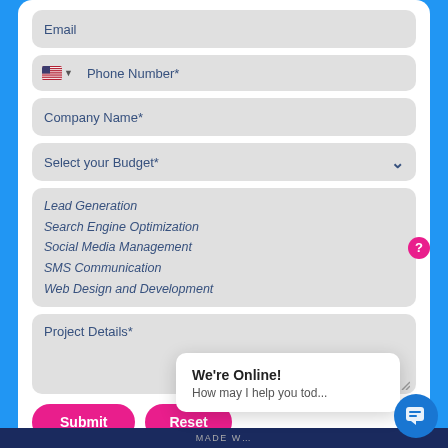Email
Phone Number*
Company Name*
Select your Budget*
Lead Generation
Search Engine Optimization
Social Media Management
SMS Communication
Web Design and Development
Project Details*
Submit
Reset
We're Online!
How may I help you tod...
MADE W...